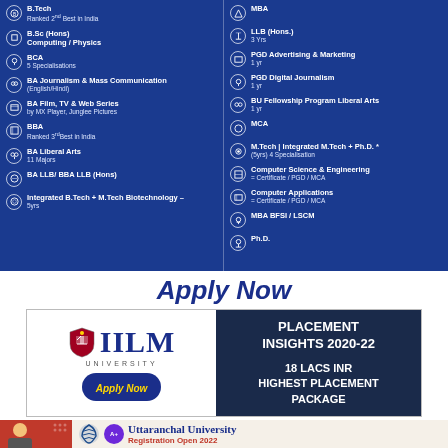[Figure (infographic): Blue university admissions banner with two columns listing programs: Left column - B.Tech (Ranked 2nd Best in India), B.Sc (Hons) Computing/Physics, BCA (5 Specialisations), BA Journalism & Mass Communication (English/Hindi), BA Film TV & Web Series by MX Player Junglee Pictures, BBA (Ranked 3rd Best in India), BA Liberal Arts (11 Majors), BA LLB/ BBA LLB (Hons), Integrated B.Tech + M.Tech Biotechnology - 5yrs. Right column - MBA, LLB (Hons.) 3 Yrs, PGD Advertising & Marketing 1 yr, PGD Digital Journalism 1 yr, BU Fellowship Program Liberal Arts 1 yr, MCA, M.Tech | Integrated M.Tech + Ph.D. (5yrs) 4 Specialisation, Computer Science & Engineering = Certificate / PGD / MCA, Computer Applications = Certificate / PGD / MCA, MBA BFSI / LSCM, Ph.D.]
Apply Now
[Figure (infographic): IILM University advertisement with logo on left, Apply Now button, and Placement Insights 2020-22: 18 Lacs INR Highest Placement Package on right dark blue panel]
[Figure (infographic): Uttaranchal University advertisement with person photo, logos and text: Uttaranchal University Registration Open 2022]